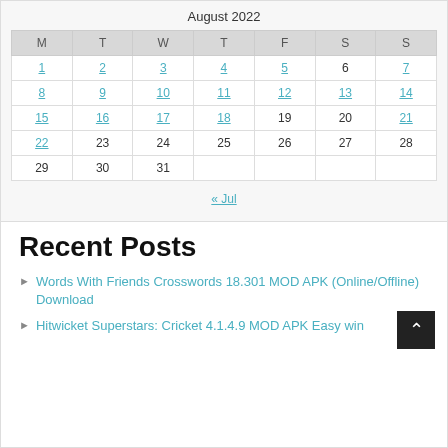August 2022
| M | T | W | T | F | S | S |
| --- | --- | --- | --- | --- | --- | --- |
| 1 | 2 | 3 | 4 | 5 | 6 | 7 |
| 8 | 9 | 10 | 11 | 12 | 13 | 14 |
| 15 | 16 | 17 | 18 | 19 | 20 | 21 |
| 22 | 23 | 24 | 25 | 26 | 27 | 28 |
| 29 | 30 | 31 |  |  |  |  |
« Jul
Recent Posts
Words With Friends Crosswords 18.301 MOD APK (Online/Offline) Download
Hitwicket Superstars: Cricket 4.1.4.9 MOD APK Easy win